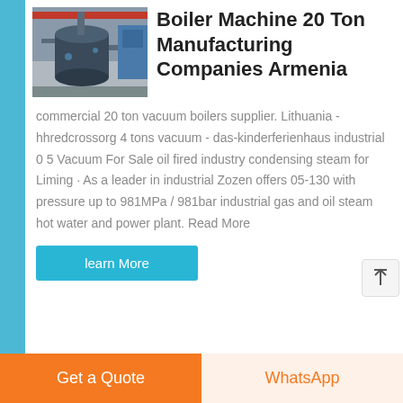[Figure (photo): Industrial boiler machine in a factory setting, showing cylindrical pressure vessel with blue industrial equipment in background]
Boiler Machine 20 Ton Manufacturing Companies Armenia
commercial 20 ton vacuum boilers supplier. Lithuania - hhredcrossorg 4 tons vacuum - das-kinderferienhaus industrial 0 5 Vacuum For Sale oil fired industry condensing steam for Liming · As a leader in industrial Zozen offers 05-130 with pressure up to 981MPa / 981bar industrial gas and oil steam hot water and power plant. Read More
learn More
Get a Quote
WhatsApp